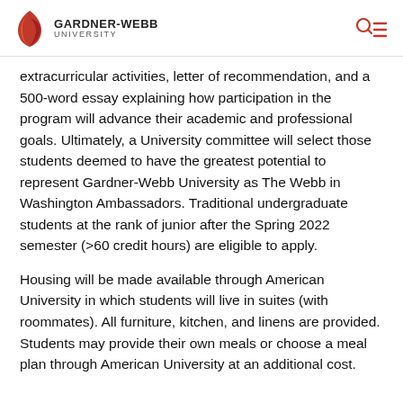GARDNER-WEBB UNIVERSITY
extracurricular activities, letter of recommendation, and a 500-word essay explaining how participation in the program will advance their academic and professional goals. Ultimately, a University committee will select those students deemed to have the greatest potential to represent Gardner-Webb University as The Webb in Washington Ambassadors. Traditional undergraduate students at the rank of junior after the Spring 2022 semester (>60 credit hours) are eligible to apply.
Housing will be made available through American University in which students will live in suites (with roommates). All furniture, kitchen, and linens are provided. Students may provide their own meals or choose a meal plan through American University at an additional cost.